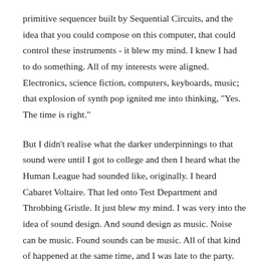primitive sequencer built by Sequential Circuits, and the idea that you could compose on this computer, that could control these instruments - it blew my mind. I knew I had to do something. All of my interests were aligned. Electronics, science fiction, computers, keyboards, music; that explosion of synth pop ignited me into thinking, "Yes. The time is right."
But I didn't realise what the darker underpinnings to that sound were until I got to college and then I heard what the Human League had sounded like, originally. I heard Cabaret Voltaire. That led onto Test Department and Throbbing Gristle. It just blew my mind. I was very into the idea of sound design. And sound design as music. Noise can be music. Found sounds can be music. All of that kind of happened at the same time, and I was late to the party.
A few years after that, I finally realised that I didn't want to be a computer engineer, and after a couple of years fucking around I ended up living in Cleveland. And there's a fantastic music store